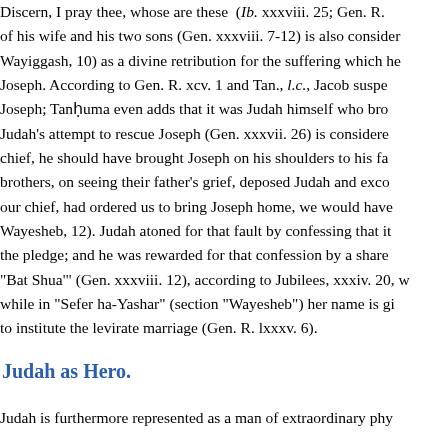Discern, I pray thee, whose are these (Ib. xxxviii. 25; Gen. R. of his wife and his two sons (Gen. xxxviii. 7-12) is also consider Wayiggash, 10) as a divine retribution for the suffering which he Joseph. According to Gen. R. xcv. 1 and Tan., l.c., Jacob suspe Joseph; Tanhuma even adds that it was Judah himself who bro Judah's attempt to rescue Joseph (Gen. xxxvii. 26) is considere chief, he should have brought Joseph on his shoulders to his fa brothers, on seeing their father's grief, deposed Judah and exco our chief, had ordered us to bring Joseph home, we would have Wayesheb, 12). Judah atoned for that fault by confessing that it the pledge; and he was rewarded for that confession by a share "Bat Shua'" (Gen. xxxviii. 12), according to Jubilees, xxxiv. 20, w while in "Sefer ha-Yashar" (section "Wayesheb") her name is gi to institute the levirate marriage (Gen. R. lxxxv. 6).
Judah as Hero.
Judah is furthermore represented as a man of extraordinary phy